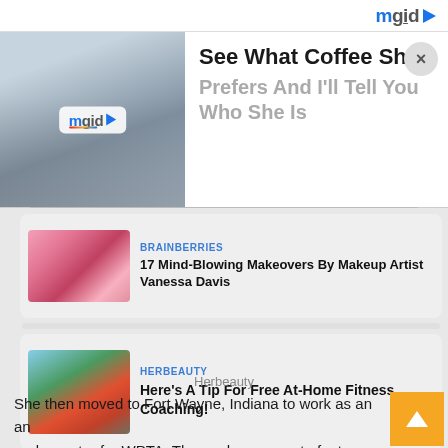[Figure (logo): mgid logo with play button icon, top right]
[Figure (photo): Banner advertisement: photo of person on left, mgid logo overlay. Text reads 'See What Coffee She Prefers And I'll Tell You Who She Is'. Close button (X) top right.]
See What Coffee She
Prefers And I'll Tell You Who She Is
[Figure (photo): Brainberries card: pink fluffy headdress / elaborate makeup costume]
BRAINBERRIES
17 Mind-Blowing Makeovers By Makeup Artist Vanessa Davis
[Figure (photo): Herbeauty card: woman in red sports bra posing outdoors]
HERBEAUTY
Here's A Tip For Free At-Home Fitness Coaching!
Herbeauty
She then moved to Fort Wayne, Indiana to work as an an and reporter for WPTA. There, she was part of a team tha broke the news of an arrest in the 1988 April Tinsley cold case,